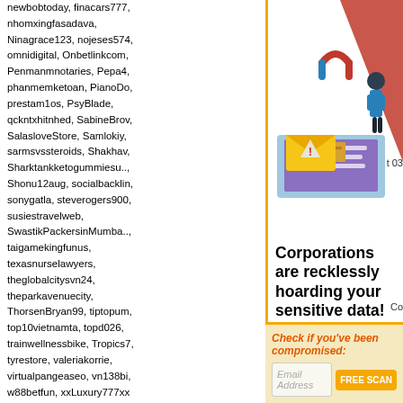newbobtoday, finacars777, nhomxingfasadava, Ninagrace123, nojeses574, omnidigital, Onbetlinkcom, Penmanmnotaries, Pepa4, phanmemketoan, PianoDo, prestam1os, PsyBlade, qckntxhitnhed, SabineBrov, SalasloveStore, Samlokiy, sarmsvssteroids, Shakhaw, Sharktankketogummiesu.., Shonu12aug, socialbacklin, sonygatla, steverogers900, susiestravelweb, SwastikPackersinMumba.., taigamekingfunus, texasnurselawyers, theglobalcitysvn24, theparkavenuecity, ThorsenBryan99, tiptopum, top10vietnamta, topd026, trainwellnessbike, Tropics7, tyrestore, valeriakorrie, virtualpangeaseo, vn138bi, w88betfun, xxLuxury777xx
Most users ever online was 150,759 on 9/11/14.
Get your weekly helping of wallpapers!
Email Address
Sign me up!
[Figure (illustration): Illustration showing a laptop with an email envelope containing a warning triangle exclamation mark, and a figure pulling data from a filing cabinet with a magnet, on a red geometric background.]
Corporations are recklessly hoarding your sensitive data!
When they get hacked, you're at risk of identity theft or worse!
Check if you've been compromised:
Email Address
FREE SCAN